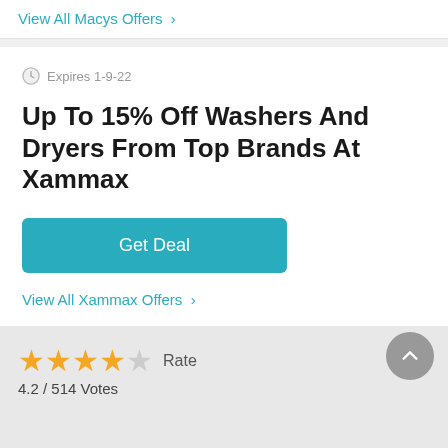View All Macys Offers >
Expires 1-9-22
Up To 15% Off Washers And Dryers From Top Brands At Xammax
Get Deal
View All Xammax Offers >
★★★★☆ Rate
4.2 / 514 Votes